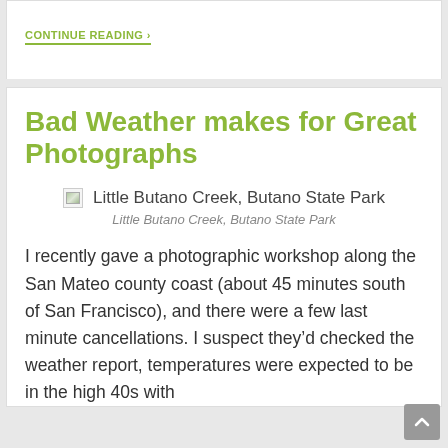CONTINUE READING ›
Bad Weather makes for Great Photographs
[Figure (photo): Broken image placeholder with alt text: Little Butano Creek, Butano State Park]
Little Butano Creek, Butano State Park
I recently gave a photographic workshop along the San Mateo county coast (about 45 minutes south of San Francisco), and there were a few last minute cancellations. I suspect they'd checked the weather report, temperatures were expected to be in the high 40s with